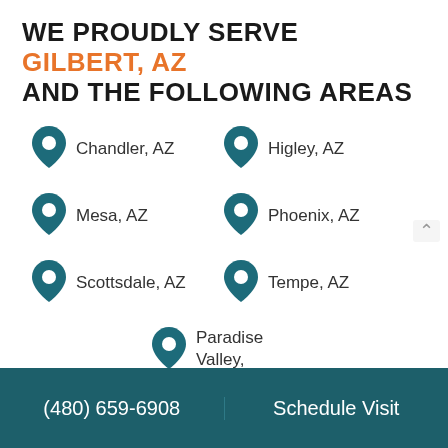WE PROUDLY SERVE GILBERT, AZ AND THE FOLLOWING AREAS
Chandler, AZ
Higley, AZ
Mesa, AZ
Phoenix, AZ
Scottsdale, AZ
Tempe, AZ
Paradise Valley, AZ
(480) 659-6908  Schedule Visit